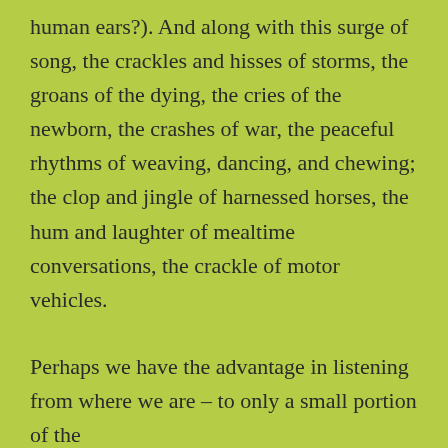human ears?). And along with this surge of song, the crackles and hisses of storms, the groans of the dying, the cries of the newborn, the crashes of war, the peaceful rhythms of weaving, dancing, and chewing; the clop and jingle of harnessed horses, the hum and laughter of mealtime conversations, the crackle of motor vehicles.
Perhaps we have the advantage in listening from where we are – to only a small portion of the